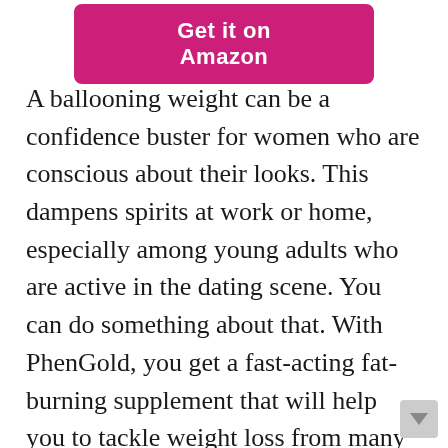[Figure (other): Pink/magenta button with white bold text 'Get it on Amazon']
A ballooning weight can be a confidence buster for women who are conscious about their looks. This dampens spirits at work or home, especially among young adults who are active in the dating scene. You can do something about that. With PhenGold, you get a fast-acting fat-burning supplement that will help you to tackle weight loss from many angles. It contains catechins from green coffee bean extracts and L-Theanine, which increase the metabolic rate naturally. Therefore, your body will burn